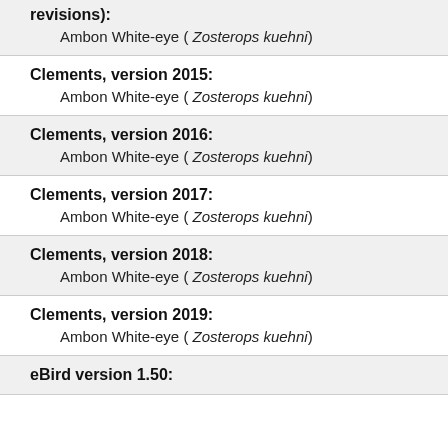revisions): Ambon White-eye ( Zosterops kuehni)
Clements, version 2015:
Ambon White-eye ( Zosterops kuehni)
Clements, version 2016:
Ambon White-eye ( Zosterops kuehni)
Clements, version 2017:
Ambon White-eye ( Zosterops kuehni)
Clements, version 2018:
Ambon White-eye ( Zosterops kuehni)
Clements, version 2019:
Ambon White-eye ( Zosterops kuehni)
eBird version 1.50: